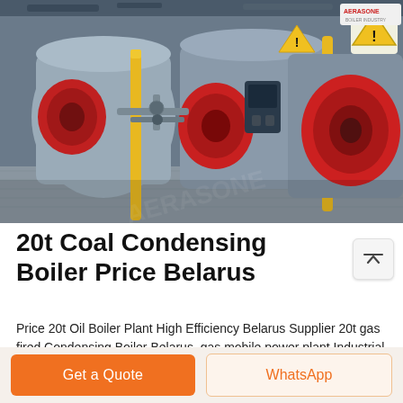[Figure (photo): Industrial boiler room showing multiple large red and grey gas-fired condensing boilers with yellow safety markings, piping, valves, and control panels on a factory floor. A yellow warning triangle sign and a manufacturer logo (resembling 'AERASONE') visible in upper right.]
20t Coal Condensing Boiler Price Belarus
Price 20t Oil Boiler Plant High Efficiency Belarus Supplier 20t gas fired Condensing Boiler Belarus. gas mobile power plant Industrial Boiler Supplier. high efficiency gas boilers plus 90 efficienct; coal boiler agent over stoker in korea; competitive price boiler
Get a Quote
WhatsApp